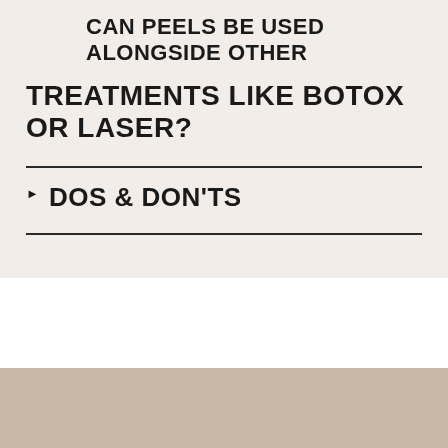CAN PEELS BE USED ALONGSIDE OTHER TREATMENTS LIKE BOTOX OR LASER?
DOS & DON'TS
TREATMENTS